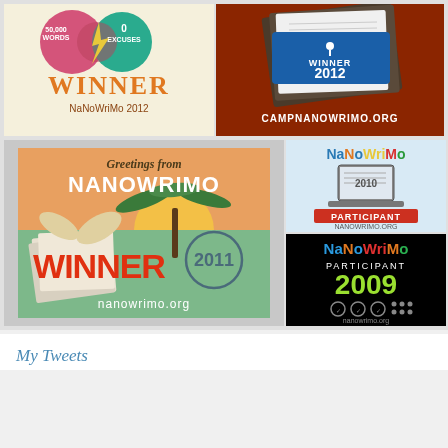[Figure (logo): NaNoWriMo 2012 Winner badge - cream background with orange WINNER text and NaNoWriMo 2012 subtitle, circles with 50000 WORDS and 0 EXCUSES at top]
[Figure (logo): Camp NaNoWriMo Winner 2012 badge - dark red/brown background with blue WINNER 2012 sign on stacked books, CAMPNANOWRIMO.ORG text]
[Figure (logo): NaNoWriMo 2011 Winner stamp badge - postage stamp style with Greetings from NANOWRIMO text, orange WINNER 2011, nanowrimo.org, palm tree and papers graphic]
[Figure (logo): NaNoWriMo 2010 Participant badge - light blue background with colorful NaNoWriMo logo, laptop graphic, PARTICIPANT text, NANOWRIMO.ORG]
[Figure (logo): NaNoWriMo 2009 Participant badge - black background with colorful NaNoWriMo title, green 2009 text, nanowrimo.org]
My Tweets